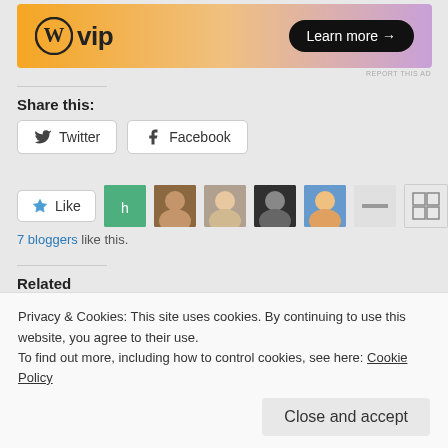[Figure (illustration): WordPress VIP advertisement banner with orange-to-purple gradient background, WordPress logo (W in circle) with 'vip' text, and 'Learn more →' button in black pill shape]
REPORT THIS AD
Share this:
[Figure (infographic): Two share buttons: Twitter (bird icon) and Facebook (f icon), styled as bordered rounded rectangles on white background]
[Figure (infographic): Like button with star icon and 7 blogger avatar thumbnails displayed in a row]
7 bloggers like this.
Related
A fabulous Amazon cash
Interview with USA Today
Privacy & Cookies: This site uses cookies. By continuing to use this website, you agree to their use.
To find out more, including how to control cookies, see here: Cookie Policy
Close and accept